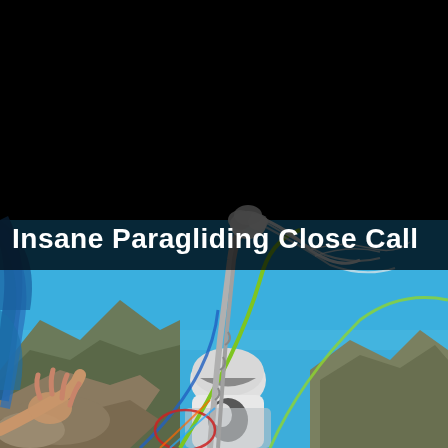[Figure (photo): A paragliding action shot. The top portion shows a solid black area. A semi-transparent dark banner overlaid on the image displays the title 'Insane Paragliding Close Call' in white bold text. The bottom portion shows a GoPro-style wide-angle view from a paraglider's perspective: blue sky, tangled colorful lines/ropes (green, blue, red, white) prominently in the foreground, a helmeted pilot in white and black gear visible below, rocky mountain terrain and hills in the background. A portion of a blue paraglider wing is visible at the left edge.]